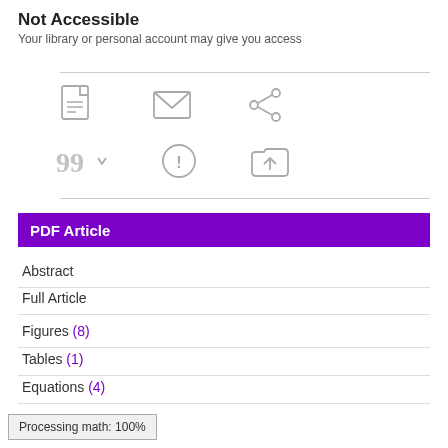Not Accessible
Your library or personal account may give you access
[Figure (infographic): Row of three icons: PDF document icon, envelope/email icon, share icon]
[Figure (infographic): Row of three icons: quotation mark/cite dropdown, alert/warning circle icon, upload/folder icon]
PDF Article
Abstract
Full Article
Figures (8)
Tables (1)
Equations (4)
Processing math: 100%